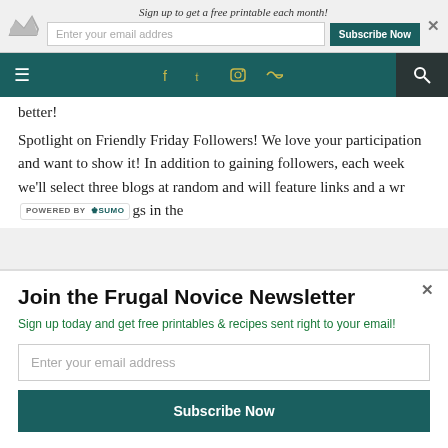Sign up to get a free printable each month!
[Figure (screenshot): Website navigation bar with hamburger menu, social media icons (Facebook, Twitter, Instagram, RSS), and search icon on teal background]
better!
Spotlight on Friendly Friday Followers! We love your participation and want to show it! In addition to gaining followers, each week we'll select three blogs at random and will feature links and a wr... [POWERED BY SUMO] ...gs in the
Join the Frugal Novice Newsletter
Sign up today and get free printables & recipes sent right to your email!
Enter your email address
Subscribe Now